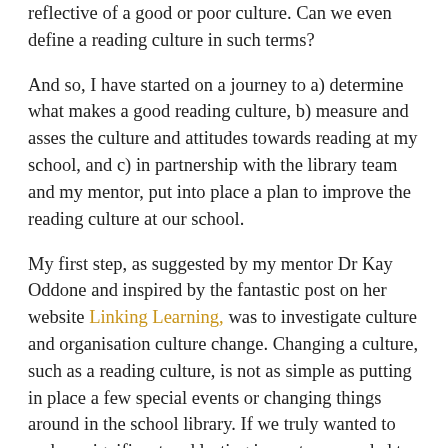reflective of a good or poor culture. Can we even define a reading culture in such terms?
And so, I have started on a journey to a) determine what makes a good reading culture, b) measure and asses the culture and attitudes towards reading at my school, and c) in partnership with the library team and my mentor, put into place a plan to improve the reading culture at our school.
My first step, as suggested by my mentor Dr Kay Oddone and inspired by the fantastic post on her website Linking Learning, was to investigate culture and organisation culture change. Changing a culture, such as a reading culture, is not as simple as putting in place a few special events or changing things around in the school library. If we truly wanted to make a significant and lasting impact, we needed to assess the culture of the school and enact change. It would take effort and time, but I was determined to make this a priority.